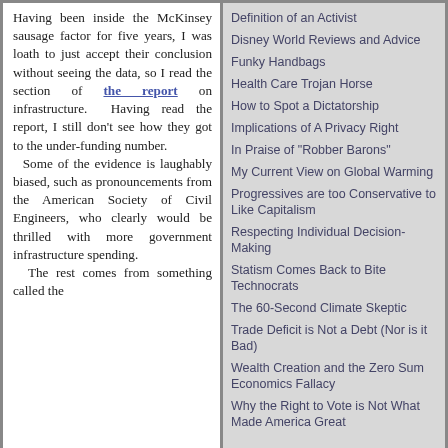Having been inside the McKinsey sausage factor for five years, I was loath to just accept their conclusion without seeing the data, so I read the section of the report on infrastructure. Having read the report, I still don't see how they got to the under-funding number. Some of the evidence is laughably biased, such as pronouncements from the American Society of Civil Engineers, who clearly would be thrilled with more government infrastructure spending. The rest comes from something called the
Definition of an Activist
Disney World Reviews and Advice
Funky Handbags
Health Care Trojan Horse
How to Spot a Dictatorship
Implications of A Privacy Right
In Praise of "Robber Barons"
My Current View on Global Warming
Progressives are too Conservative to Like Capitalism
Respecting Individual Decision-Making
Statism Comes Back to Bite Technocrats
The 60-Second Climate Skeptic
Trade Deficit is Not a Debt (Nor is it Bad)
Wealth Creation and the Zero Sum Economics Fallacy
Why the Right to Vote is Not What Made America Great